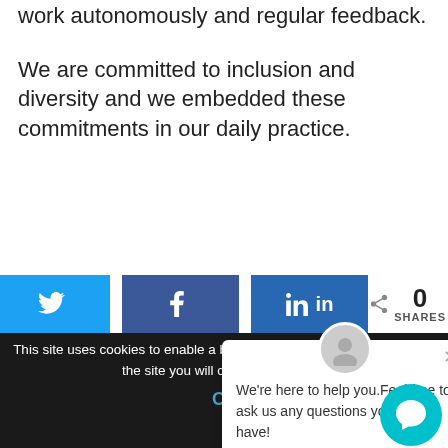work autonomously and regular feedback.
We are committed to inclusion and diversity and we embedded these commitments in our daily practice.
[Figure (screenshot): Social share bar with Twitter, Facebook, LinkedIn buttons and share count of 0]
[Figure (screenshot): Chat popup with avatar, close button, and text: We're here to help you.Feel free to ask us any questions you might have!]
This site uses cookies to enable a better user experience. By browsing the site you will consent to its use.
Ok
[Figure (screenshot): Teal chat bubble support button in bottom right corner]